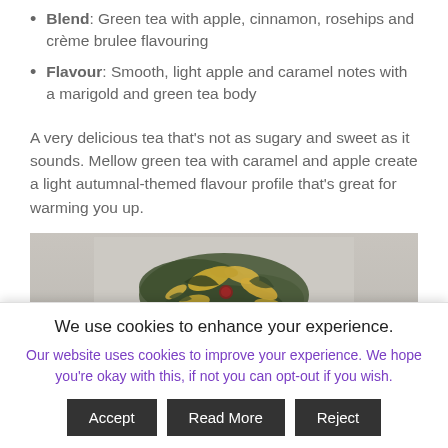Blend: Green tea with apple, cinnamon, rosehips and crème brulee flavouring
Flavour: Smooth, light apple and caramel notes with a marigold and green tea body
A very delicious tea that's not as sugary and sweet as it sounds. Mellow green tea with caramel and apple create a light autumnal-themed flavour profile that's great for warming you up.
[Figure (photo): Close-up photograph of loose leaf green tea blend with dried apple pieces, yellow flowers (marigold), and dark tea leaves on a light grey background]
We use cookies to enhance your experience.
Our website uses cookies to improve your experience. We hope you're okay with this, if not you can opt-out if you wish.